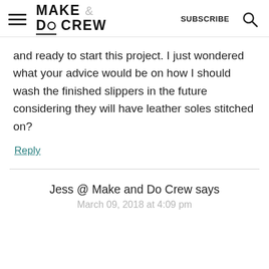MAKE & DO CREW  SUBSCRIBE
and ready to start this project. I just wondered what your advice would be on how I should wash the finished slippers in the future considering they will have leather soles stitched on?
Reply
Jess @ Make and Do Crew says
March 09, 2018 at 4:09 pm